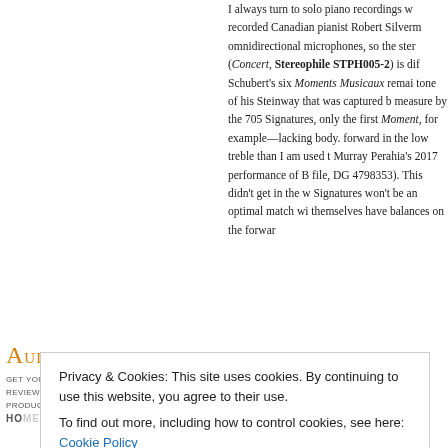I always turn to solo piano recordings w recorded Canadian pianist Robert Silverm omnidirectional microphones, so the ster (Concert, Stereophile STPH005-2) is dif Schubert's six Moments Musicaux remai tone of his Steinway that was captured b measure by the 705 Signatures, only the first Moment, for example—lacking body. forward in the low treble than I am used t Murray Perahia's 2017 performance of B file, DG 4798353). This didn't get in the w Signatures won't be an optimal match wi themselves have balances on the forwar
Audiophilepure
Get your DAILY audiophile reviews & news for products,tracks,shows.
Privacy & Cookies: This site uses cookies. By continuing to use this website, you agree to their use. To find out more, including how to control cookies, see here: Cookie Policy